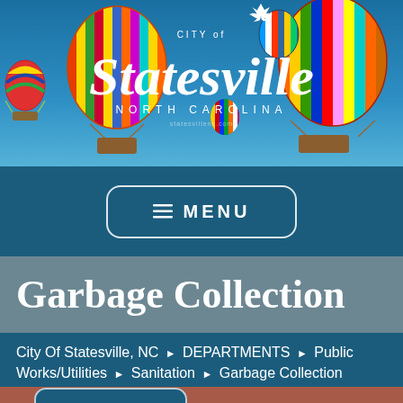[Figure (photo): City of Statesville, North Carolina banner with colorful hot air balloons against a blue sky background]
CITY of Statesville NORTH CAROLINA
MENU
Garbage Collection
City Of Statesville, NC ▶ DEPARTMENTS ▶ Public Works/Utilities ▶ Sanitation ▶ Garbage Collection
MENU